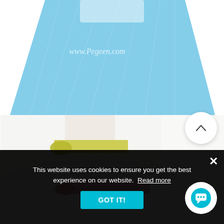[Figure (photo): Flower girl dress with blue tulle skirt, partial view showing lower bodice and skirt. Watermark reads www.Pegeen.com]
[Figure (photo): Flower girl dress with ivory/white bodice, yellow-green sash/bow at waist, and full white tulle skirt. Watermark reads www.Pegeen.com]
[Figure (photo): Partial view of a pink flower girl dress, only top portion visible]
This website uses cookies to ensure you get the best experience on our website. Read more
GOT IT!